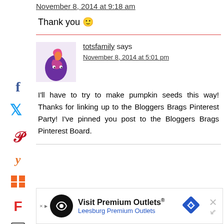November 8, 2014 at 9:18 am
Thank you 🙂
totsfamily says
November 8, 2014 at 5:01 pm
I'll have to try to make pumpkin seeds this way! Thanks for linking up to the Bloggers Brags Pinterest Party! I've pinned you post to the Bloggers Brags Pinterest Board.
[Figure (logo): Tots Family blog avatar - stylized figure with pink and orange swirl design on purple background]
Visit Premium Outlets® Leesburg Premium Outlets